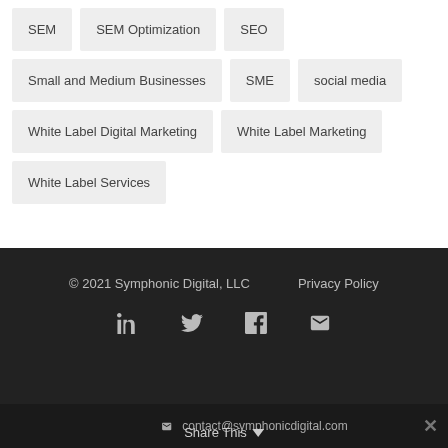SEM
SEM Optimization
SEO
Small and Medium Businesses
SME
social media
White Label Digital Marketing
White Label Marketing
White Label Services
© 2021 Symphonic Digital, LLC    Privacy Policy
contact@symphonicdigital.com  Share This  ✕